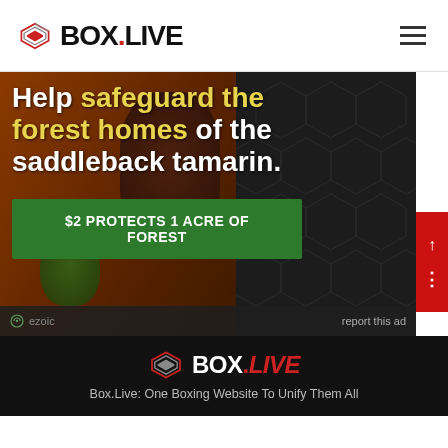BOX.LIVE
[Figure (photo): Advertisement banner showing a saddleback tamarin monkey in a jungle setting with overlaid text 'Help safeguard the forest homes of the saddleback tamarin.' and a green CTA button '$2 PROTECTS 1 ACRE OF FOREST'. Ezoic ad label and 'report this ad' text at bottom.]
[Figure (logo): BOX.LIVE logo — stacked hexagon icon in red/grey with BOX in white and LIVE in red text]
Box.Live: One Boxing Website To Unify Them All